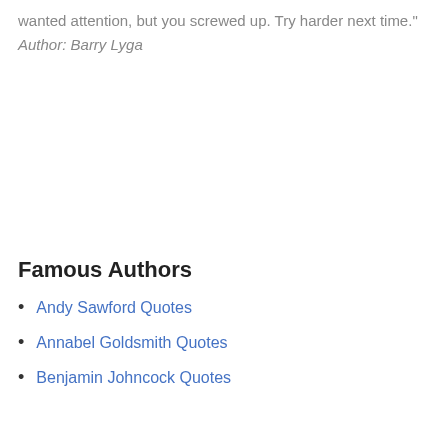wanted attention, but you screwed up. Try harder next time."
Author: Barry Lyga
Famous Authors
Andy Sawford Quotes
Annabel Goldsmith Quotes
Benjamin Johncock Quotes